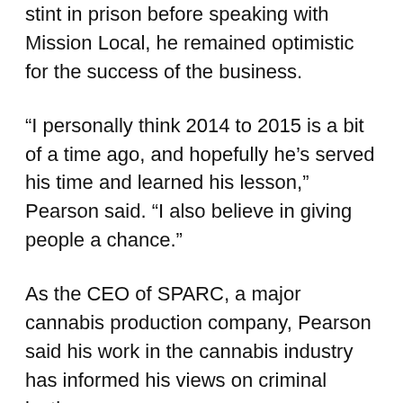stint in prison before speaking with Mission Local, he remained optimistic for the success of the business.
“I personally think 2014 to 2015 is a bit of a time ago, and hopefully he’s served his time and learned his lesson,” Pearson said. “I also believe in giving people a chance.”
As the CEO of SPARC, a major cannabis production company, Pearson said his work in the cannabis industry has informed his views on criminal justice.
“We continue to have a justice system that penalizes people post-conviction, post-